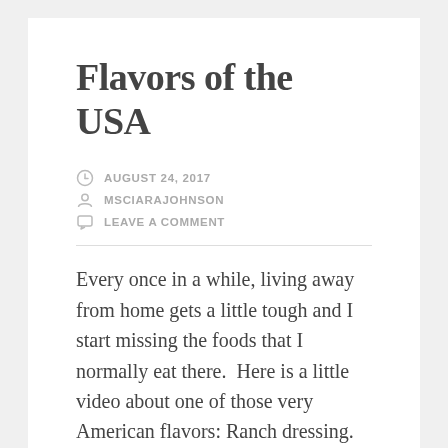Flavors of the USA
AUGUST 24, 2017
MSCIARAJOHNSON
LEAVE A COMMENT
Every once in a while, living away from home gets a little tough and I start missing the foods that I normally eat there.  Here is a little video about one of those very American flavors: Ranch dressing.
Growing up, I loved putting this on nearly everything: salad, chips, pizza… everything. Here, the ranch dressing that you get is not